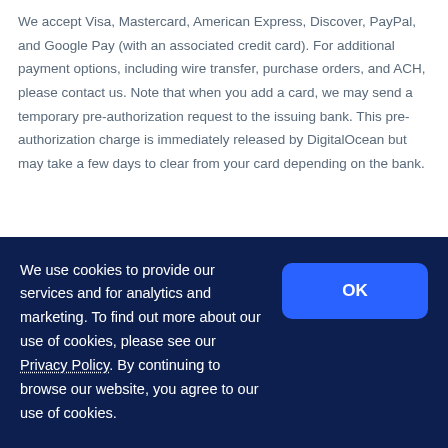We accept Visa, Mastercard, American Express, Discover, PayPal, and Google Pay (with an associated credit card). For additional payment options, including wire transfer, purchase orders, and ACH, please contact us. Note that when you add a card, we may send a temporary pre-authorization request to the issuing bank. This pre-authorization charge is immediately released by DigitalOcean but may take a few days to clear from your card depending on the bank.
Who is eligible for the free trial?
New customers to DigitalOcean with a valid credit card are eligible. You are eligible if you have never been a paying customer of DigitalOcean and have not previously signed up for the free...
We use cookies to provide our services and for analytics and marketing. To find out more about our use of cookies, please see our Privacy Policy. By continuing to browse our website, you agree to our use of cookies.